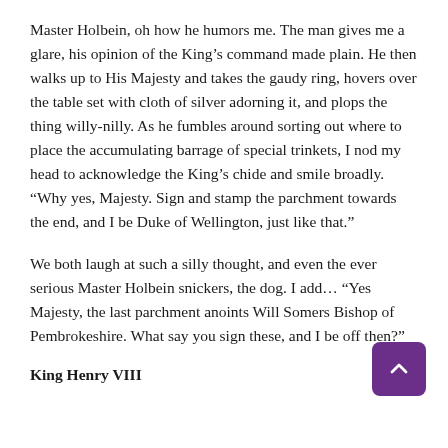Master Holbein, oh how he humors me. The man gives me a glare, his opinion of the King's command made plain. He then walks up to His Majesty and takes the gaudy ring, hovers over the table set with cloth of silver adorning it, and plops the thing willy-nilly. As he fumbles around sorting out where to place the accumulating barrage of special trinkets, I nod my head to acknowledge the King's chide and smile broadly. “Why yes, Majesty. Sign and stamp the parchment towards the end, and I be Duke of Wellington, just like that.”
We both laugh at such a silly thought, and even the ever serious Master Holbein snickers, the dog. I add… “Yes Majesty, the last parchment anoints Will Somers Bishop of Pembrokeshire. What say you sign these, and I be off then?”
King Henry VIII